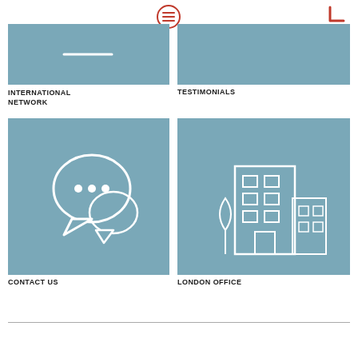[Figure (illustration): Hamburger menu icon (three horizontal lines) in a red circle, top center navigation]
[Figure (logo): Red L-shaped logo mark, top right corner]
[Figure (illustration): Teal/blue-grey square card for International Network, partially visible at top]
INTERNATIONAL NETWORK
[Figure (illustration): Teal/blue-grey square card for Testimonials, partially visible at top]
TESTIMONIALS
[Figure (illustration): Teal/blue-grey card with white speech bubble / chat icons for Contact Us]
CONTACT US
[Figure (illustration): Teal/blue-grey card with white building/office icon for London Office]
LONDON OFFICE